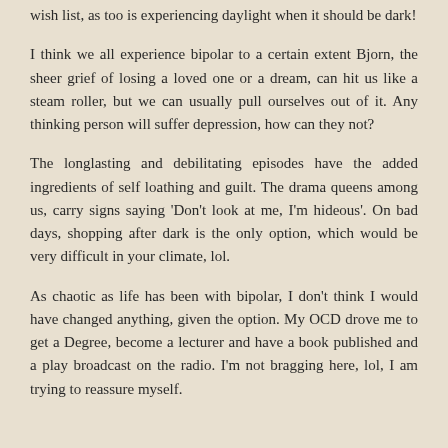wish list, as too is experiencing daylight when it should be dark!
I think we all experience bipolar to a certain extent Bjorn, the sheer grief of losing a loved one or a dream, can hit us like a steam roller, but we can usually pull ourselves out of it. Any thinking person will suffer depression, how can they not?
The longlasting and debilitating episodes have the added ingredients of self loathing and guilt. The drama queens among us, carry signs saying 'Don't look at me, I'm hideous'. On bad days, shopping after dark is the only option, which would be very difficult in your climate, lol.
As chaotic as life has been with bipolar, I don't think I would have changed anything, given the option. My OCD drove me to get a Degree, become a lecturer and have a book published and a play broadcast on the radio. I'm not bragging here, lol, I am trying to reassure myself.